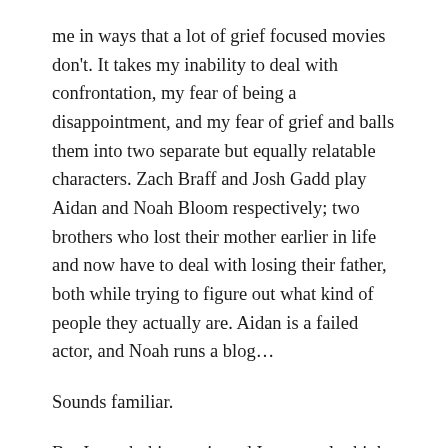me in ways that a lot of grief focused movies don't. It takes my inability to deal with confrontation, my fear of being a disappointment, and my fear of grief and balls them into two separate but equally relatable characters. Zach Braff and Josh Gadd play Aidan and Noah Bloom respectively; two brothers who lost their mother earlier in life and now have to deal with losing their father, both while trying to figure out what kind of people they actually are. Aidan is a failed actor, and Noah runs a blog...
Sounds familiar.
But I watch this movie and I constantly think: yeah, that's about right. Noah refuses to go see his father. At first it's because of his resentment towards him...his last conversation with him was about how much of a lost cause he was. Aidan's relationship with him is more business like: the father pays for his grandkids private Jewish schooling, and Aidan keeps in